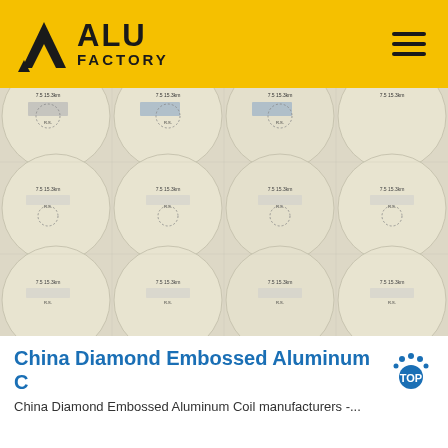ALU FACTORY
[Figure (photo): Photo of aluminum discs/circles with printed labels arranged in a grid pattern on a light background, showing rows of cream-colored round aluminum blanks with barcodes and text labels]
China Diamond Embossed Aluminum Coil
China Diamond Embossed Aluminum Coil manufacturers -...